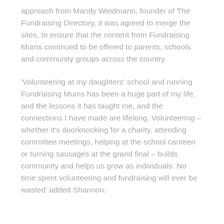approach from Mandy Weidmann, founder of The Fundraising Directory, it was agreed to merge the sites, to ensure that the content from Fundraising Mums continued to be offered to parents, schools and community groups across the country.
'Volunteering at my daughters' school and running Fundraising Mums has been a huge part of my life, and the lessons it has taught me, and the connections I have made are lifelong. Volunteering – whether it's doorknocking for a charity, attending committee meetings, helping at the school canteen or turning sausages at the grand final – builds community and helps us grow as individuals. No time spent volunteering and fundraising will ever be wasted' added Shannon.